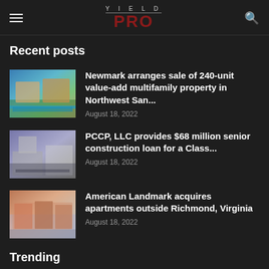YIELD PRO
Recent posts
Newmark arranges sale of 240-unit value-add multifamily property in Northwest San... | August 18, 2022
PCCP, LLC provides $68 million senior construction loan for a Class... | August 18, 2022
American Landmark acquires apartments outside Richmond, Virginia | August 18, 2022
Trending